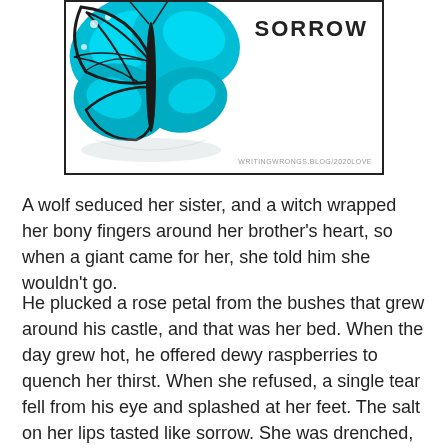[Figure (illustration): A framed illustration showing a blue monarch butterfly on the left side with the word SORROW in bold capital letters on the right, and a website watermark at the bottom right: writingwrongs.blog/2020love]
A wolf seduced her sister, and a witch wrapped her bony fingers around her brother’s heart, so when a giant came for her, she told him she wouldn’t go.
He plucked a rose petal from the bushes that grew around his castle, and that was her bed. When the day grew hot, he offered dewy raspberries to quench her thirst. When she refused, a single tear fell from his eye and splashed at her feet. The salt on her lips tasted like sorrow. She was drenched, but unmoved.